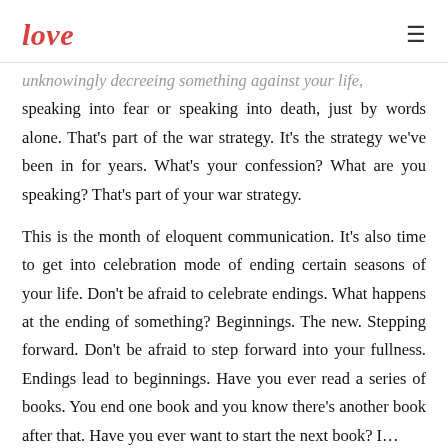love
unknowingly decreeing something against your life, speaking into fear or speaking into death, just by words alone. That's part of the war strategy. It's the strategy we've been in for years. What's your confession? What are you speaking? That's part of your war strategy.
This is the month of eloquent communication. It's also time to get into celebration mode of ending certain seasons of your life. Don't be afraid to celebrate endings. What happens at the ending of something? Beginnings. The new. Stepping forward. Don't be afraid to step forward into your fullness. Endings lead to beginnings. Have you ever read a series of books. You end one book and you know there's another book after that. Have you ever...